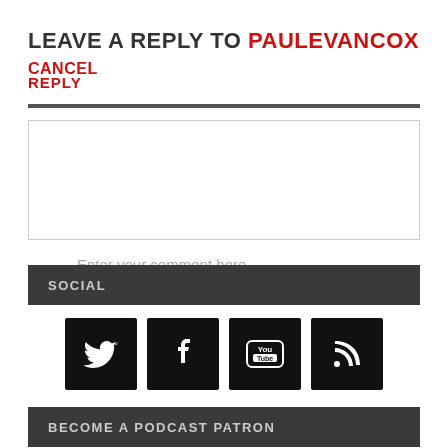LEAVE A REPLY TO PAULEVANCOX CANCEL
REPLY
Enter your comment here...
SOCIAL
[Figure (other): Social media icons: Twitter, Facebook, YouTube, RSS]
BECOME A PODCAST PATRON